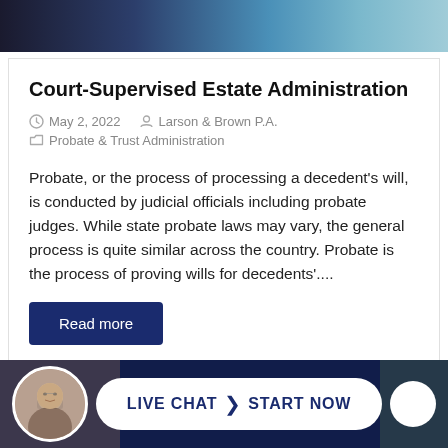[Figure (photo): Top banner image showing a courtroom interior with dark wood and architectural details]
Court-Supervised Estate Administration
May 2, 2022   Larson & Brown P.A.
Probate & Trust Administration
Probate, or the process of processing a decedent's will, is conducted by judicial officials including probate judges. While state probate laws may vary, the general process is quite similar across the country. Probate is the process of proving wills for decedents'....
Read more
[Figure (photo): Bottom live chat bar with avatar photo of a man in glasses and suit, white pill-shaped button reading LIVE CHAT > START NOW]